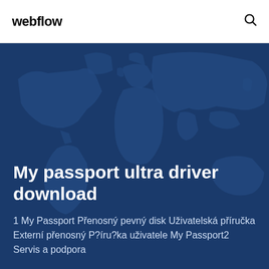webflow
[Figure (illustration): World map illustration in dark blue tones used as background for the hero section]
My passport ultra driver download
1 My Passport Přenosný pevný disk Uživatelská příručka Externí přenosný P?íru?ka uživatele My Passport2 Servis a podpora